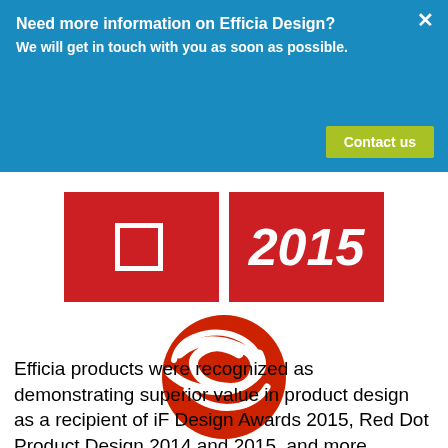Need more information on Efficia Design?
We will get in touch with you as soon as possible.
[Figure (logo): Red dot award product design logo with red swirling globe and text]
Efficia products were recognized as demonstrating superior value in product design as a recipient of iF Design Awards 2015, Red Dot Product Design 2014 and 2015, and more.